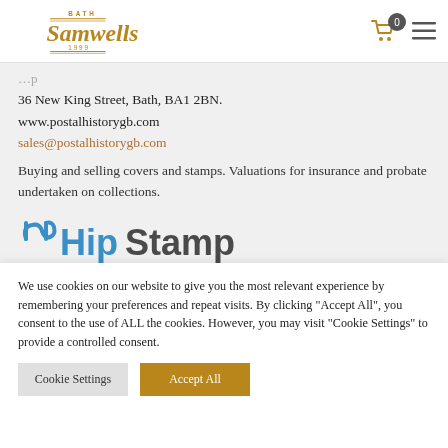Bath Samwells 1999 — logo header with cart (0) and menu icon
36 New King Street, Bath, BA1 2BN.
www.postalhistorygb.com
sales@postalhistorygb.com
Buying and selling covers and stamps. Valuations for insurance and probate undertaken on collections.
[Figure (logo): HipStamp logo — blue and teal stylized text with mustache icon]
We use cookies on our website to give you the most relevant experience by remembering your preferences and repeat visits. By clicking “Accept All”, you consent to the use of ALL the cookies. However, you may visit “Cookie Settings” to provide a controlled consent.